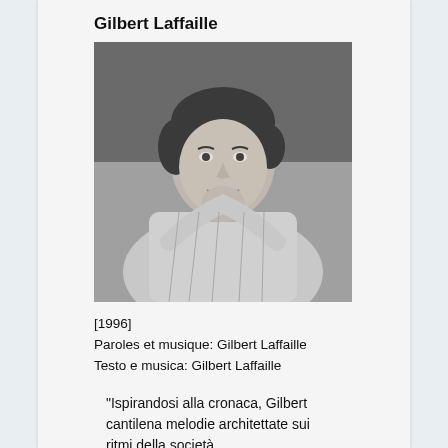Gilbert Laffaille
[Figure (photo): Black and white portrait photograph of Gilbert Laffaille, a middle-aged man with dark hair, smiling, resting his chin on his hand, wearing a light plaid shirt.]
[1996]
Paroles et musique: Gilbert Laffaille
Testo e musica: Gilbert Laffaille
"Ispirandosi alla cronaca, Gilbert cantilena melodie architettate sui ritmi della società...